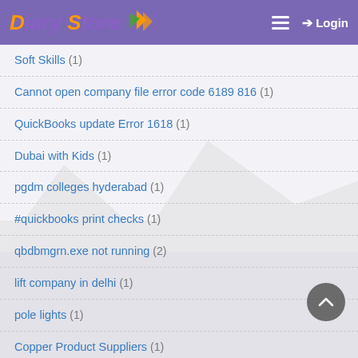Diary Store — Login
Soft Skills (1)
Cannot open company file error code 6189 816 (1)
QuickBooks update Error 1618 (1)
Dubai with Kids (1)
pgdm colleges hyderabad (1)
#quickbooks print checks (1)
qbdbmgrn.exe not running (2)
lift company in delhi (1)
pole lights (1)
Copper Product Suppliers (1)
QuickBooks unrecoverable error 31197 00540 (1)
quickbooks keeps crashing windows 10 (1)